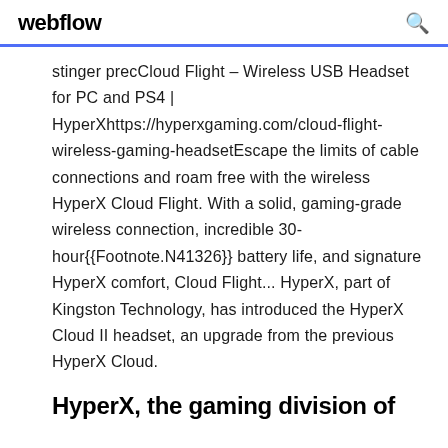webflow
stinger precCloud Flight – Wireless USB Headset for PC and PS4 | HyperXhttps://hyperxgaming.com/cloud-flight-wireless-gaming-headsetEscape the limits of cable connections and roam free with the wireless HyperX Cloud Flight. With a solid, gaming-grade wireless connection, incredible 30-hour{{Footnote.N41326}} battery life, and signature HyperX comfort, Cloud Flight... HyperX, part of Kingston Technology, has introduced the HyperX Cloud II headset, an upgrade from the previous HyperX Cloud.
HyperX, the gaming division of